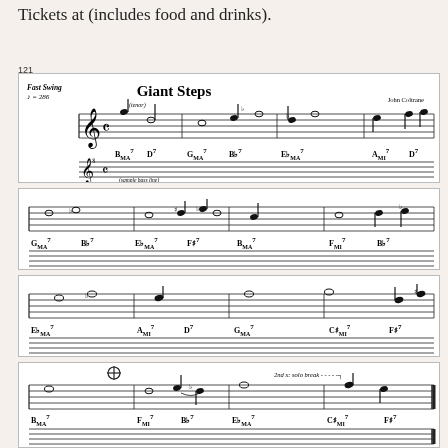Tickets at (includes food and drinks).
121
[Figure (illustration): Sheet music for 'Giant Steps' by John Coltrane. Fast Swing, quarter note = 286. Four systems of music notation showing melody (tenor) and bass lines with chord symbols including BMA7, D7, GMA7, Bb7, EbMA7, AMI7, D7, FMI7, C#MI7, F#7, BMI7, and others. Fourth system includes a coda symbol and marking '2nd x: solo break'.]